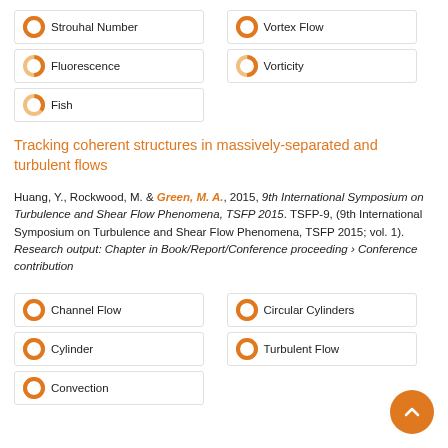Strouhal Number
Vortex Flow
Fluorescence
Vorticity
Fish
Tracking coherent structures in massively-separated and turbulent flows
Huang, Y., Rockwood, M. & Green, M. A., 2015, 9th International Symposium on Turbulence and Shear Flow Phenomena, TSFP 2015. TSFP-9, (9th International Symposium on Turbulence and Shear Flow Phenomena, TSFP 2015; vol. 1). Research output: Chapter in Book/Report/Conference proceeding › Conference contribution
Channel Flow
Circular Cylinders
Cylinder
Turbulent Flow
Convection